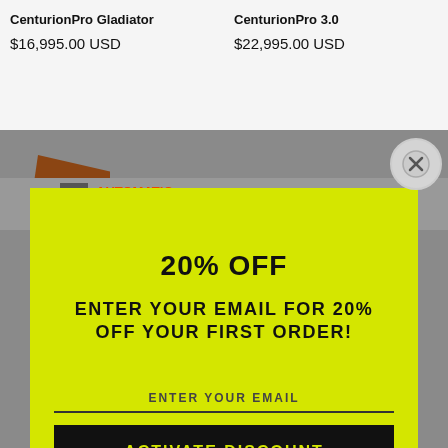CenturionPro Gladiator
$16,995.00 USD
CenturionPro 3.0
$22,995.00 USD
20% OFF
ENTER YOUR EMAIL FOR 20% OFF YOUR FIRST ORDER!
ENTER YOUR EMAIL
ACTIVATE DISCOUNT
Powered by omnisend